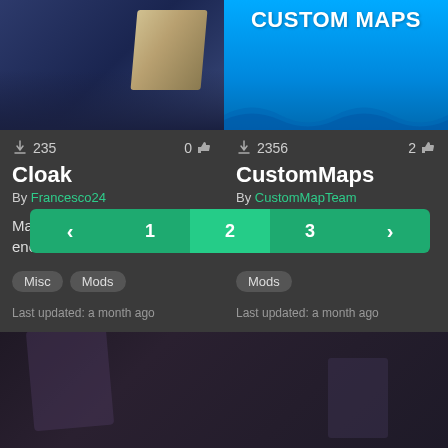[Figure (screenshot): Game mod listing UI showing two mod cards: 'Cloak' and 'CustomMaps', with download counts, authors, descriptions, tags, and a pagination bar.]
235
0
Cloak
By Francesco24
Makes you invisible to enemies
Misc
Mods
Last updated: a month ago
2356
2
CustomMaps
By CustomMapTeam
Custom map loader for Hard Bullet
Mods
Last updated: a month ago
< 1 2 3 >